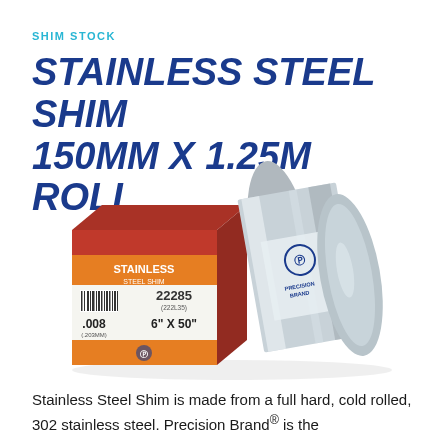SHIM STOCK
STAINLESS STEEL SHIM 150MM X 1.25M ROLL
[Figure (photo): Product photo showing a red box of Precision Brand Stainless Steel Shim (labeled 22285, .008, 6" x 50") alongside a silver roll of stainless steel shim stock with Precision Brand branding.]
Stainless Steel Shim is made from a full hard, cold rolled, 302 stainless steel. Precision Brand® is the